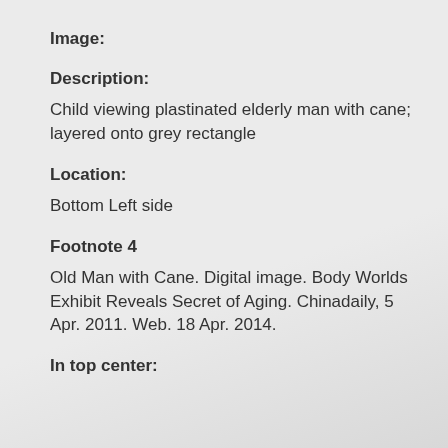Image:
Description:
Child viewing plastinated elderly man with cane; layered onto grey rectangle
Location:
Bottom Left side
Footnote 4
Old Man with Cane. Digital image. Body Worlds Exhibit Reveals Secret of Aging. Chinadaily, 5 Apr. 2011. Web. 18 Apr. 2014.
In top center: